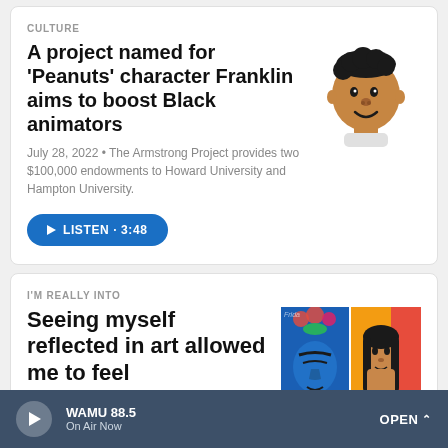CULTURE
A project named for 'Peanuts' character Franklin aims to boost Black animators
July 28, 2022 • The Armstrong Project provides two $100,000 endowments to Howard University and Hampton University.
[Figure (illustration): Franklin Armstrong cartoon character from Peanuts, a young Black boy with curly hair, smiling]
LISTEN · 3:48
I'M REALLY INTO
Seeing myself reflected in art allowed me to feel
[Figure (photo): Two paintings side by side: left shows Frida Kahlo-style face in blue with flowers, right shows a woman with long black hair on yellow/red background]
WAMU 88.5 On Air Now OPEN